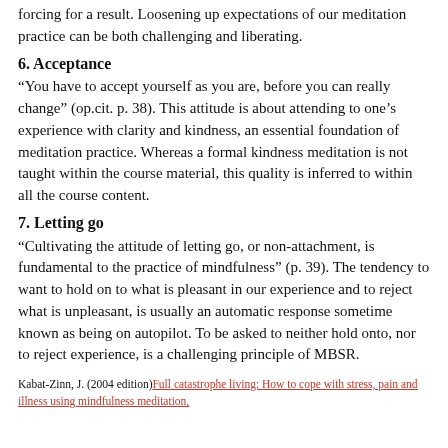forcing for a result. Loosening up expectations of our meditation practice can be both challenging and liberating.
6. Acceptance
“You have to accept yourself as you are, before you can really change” (op.cit. p. 38). This attitude is about attending to one’s experience with clarity and kindness, an essential foundation of meditation practice. Whereas a formal kindness meditation is not taught within the course material, this quality is inferred to within all the course content.
7. Letting go
“Cultivating the attitude of letting go, or non-attachment, is fundamental to the practice of mindfulness” (p. 39). The tendency to want to hold on to what is pleasant in our experience and to reject what is unpleasant, is usually an automatic response sometime known as being on autopilot. To be asked to neither hold onto, nor to reject experience, is a challenging principle of MBSR.
Kabat-Zinn, J. (2004 edition)Full catastrophe living: How to cope with stress, pain and illness using mindfulness meditation,